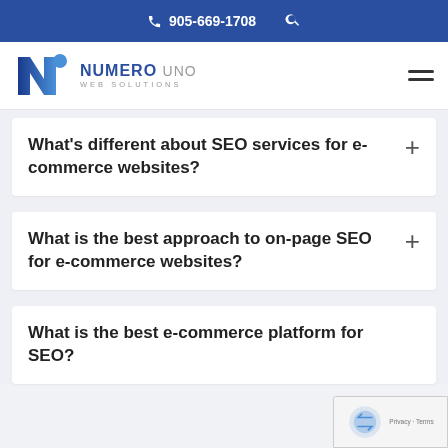905-669-1708
[Figure (logo): Numero Uno Web Solutions logo]
What's different about SEO services for e-commerce websites?
What is the best approach to on-page SEO for e-commerce websites?
What is the best e-commerce platform for SEO?